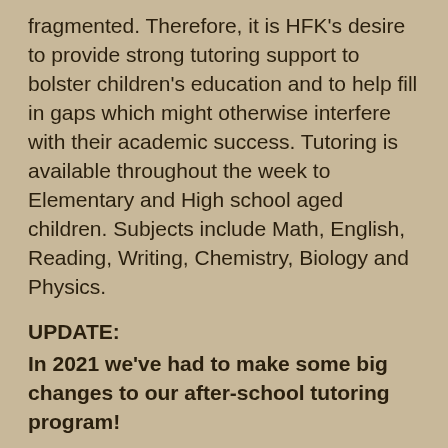fragmented. Therefore, it is HFK's desire to provide strong tutoring support to bolster children's education and to help fill in gaps which might otherwise interfere with their academic success. Tutoring is available throughout the week to Elementary and High school aged children. Subjects include Math, English, Reading, Writing, Chemistry, Biology and Physics.
UPDATE:
In 2021 we've had to make some big changes to our after-school tutoring program!
After the Covid19 lock-down, Ethiopian children returned back to school on a 3-day rotation. This means school is in session 6 days per week and in order to support our